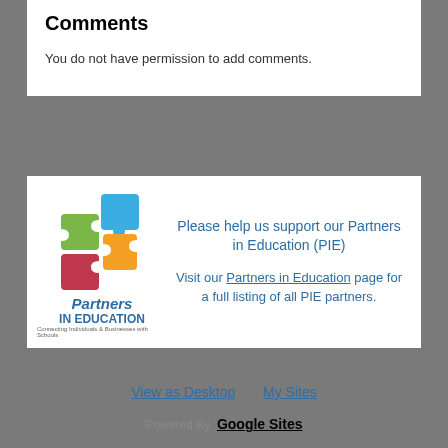Comments
You do not have permission to add comments.
[Figure (logo): Partners in Education logo with colorful puzzle pieces (blue, green, orange, red) and text 'Partners IN EDUCATION - Connecting Individuals & Businesses with Schools']
Please help us support our Partners in Education (PIE)
Visit our Partners in Education page for a full listing of all PIE partners.
View as Desktop   My Sites   Powered By Google Sites